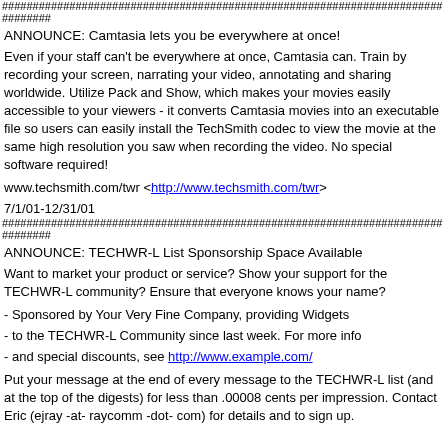################################################################################
ANNOUNCE: Camtasia lets you be everywhere at once!
Even if your staff can't be everywhere at once, Camtasia can. Train by recording your screen, narrating your video, annotating and sharing worldwide. Utilize Pack and Show, which makes your movies easily accessible to your viewers - it converts Camtasia movies into an executable file so users can easily install the TechSmith codec to view the movie at the same high resolution you saw when recording the video. No special software required!
www.techsmith.com/twr <http://www.techsmith.com/twr>
7/1/01-12/31/01
################################################################################
ANNOUNCE: TECHWR-L List Sponsorship Space Available
Want to market your product or service? Show your support for the TECHWR-L community? Ensure that everyone knows your name?
- Sponsored by Your Very Fine Company, providing Widgets
- to the TECHWR-L Community since last week. For more info
- and special discounts, see http://www.example.com/
Put your message at the end of every message to the TECHWR-L list (and at the top of the digests) for less than .00008 cents per impression. Contact Eric (ejray -at- raycomm -dot- com) for details and to sign up.